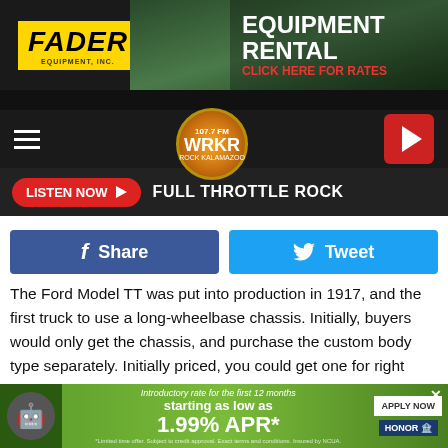[Figure (photo): Fader Equipment Inc. advertisement banner with excavator and 'EQUIPMENT RENTAL - CLICK HERE FOR RATES' text on dark background]
[Figure (logo): WRKR radio station logo circular badge with hamburger menu and play button on dark navigation bar]
LISTEN NOW  FULL THROTTLE ROCK
[Figure (other): Facebook Share and Twitter Tweet social sharing buttons]
The Ford Model TT was put into production in 1917, and the first truck to use a long-wheelbase chassis. Initially, buyers would only get the chassis, and purchase the custom body type separately. Initially priced, you could get one for right around $600.
Only three Model TT's rolled off the line in its first year of production, which was initially disrupted with the start of
[Figure (other): Bottom advertisement for Honor Credit Union: introductory rate for first 12 months starting as low as 1.99% APR*. Apply Now button with Honor logo.]